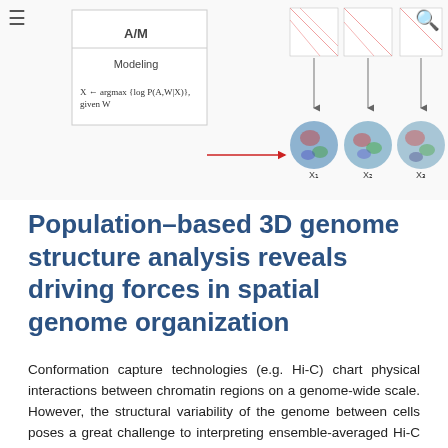[Figure (illustration): Scientific diagram showing a population-based 3D genome structure modeling workflow. Left side shows a box labeled 'A/M' and 'Modeling' with a formula: X ← argmax{log P(A,W|X)}, given W. An arrow points right to a series of colorful 3D genome structure spheres labeled X1, X2, X3, ... Xn. Top shows Hi-C contact map heatmaps with arrows pointing down to the structures. Right side shows 'Structure population' label with formula Xm = {Xm : Xm ∈ H^N}.]
Population-based 3D genome structure analysis reveals driving forces in spatial genome organization
Conformation capture technologies (e.g. Hi-C) chart physical interactions between chromatin regions on a genome-wide scale. However, the structural variability of the genome between cells poses a great challenge to interpreting ensemble-averaged Hi-C data, particularly